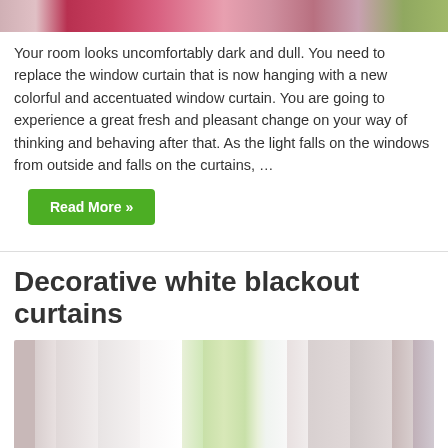[Figure (photo): A cropped photo of colorful window curtains (pink/red tones) in a room setting.]
Your room looks uncomfortably dark and dull. You need to replace the window curtain that is now hanging with a new colorful and accentuated window curtain. You are going to experience a great fresh and pleasant change on your way of thinking and behaving after that. As the light falls on the windows from outside and falls on the curtains, …
Read More »
Decorative white blackout curtains
[Figure (photo): A photo of white blackout curtains hanging in front of a bright window with greenery visible outside.]